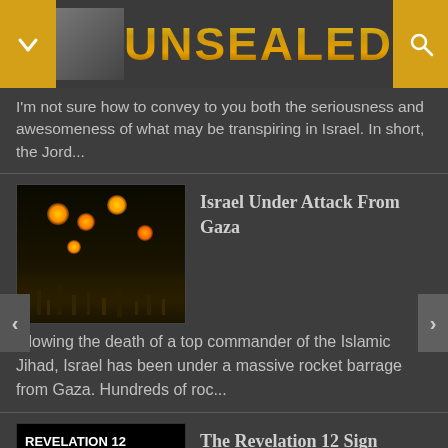UNSEALED
I'm not sure how to convey to you both the seriousness and awesomeness of what may be transpiring in Israel.  In short, the Jord...
[Figure (photo): Night sky photo showing orange glowing lights over a dark cityscape, appearing to be missile or rocket fire]
Israel Under Attack From Gaza
ollowing the death of a top commander of the Islamic Jihad, Israel has been under a massive rocket barrage from Gaza.  Hundreds of roc...
[Figure (photo): Black background with white text reading REVELATION 12]
The Revelation 12 Sign Compendium
Deutsche Sprache | En Español LAST UPDATED: August 8th, 2017.  By now you've probably heard about what a number of Christian...
[Figure (photo): Partial thumbnail of another article at the bottom, showing a warm tan/golden colored image]